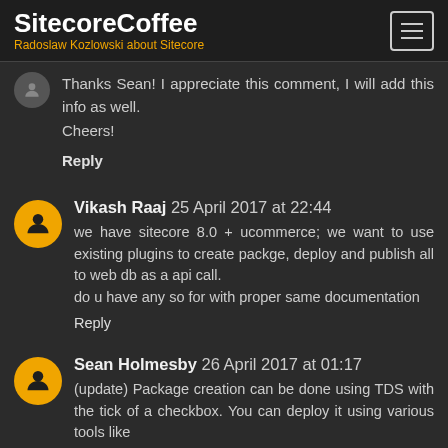SitecoreCoffee — Radoslaw Kozlowski about Sitecore
Thanks Sean! I appreciate this comment, I will add this info as well.
Cheers!
Reply
Vikash Raaj  25 April 2017 at 22:44
we have sitecore 8.0 + ucommerce; we want to use existing plugins to create packge, deploy and publish all to web db as a api call.
do u have any so for with proper same documentation
Reply
Sean Holmesby  26 April 2017 at 01:17
(update) Package creation can be done using TDS with the tick of a checkbox. You can deploy it using various tools like